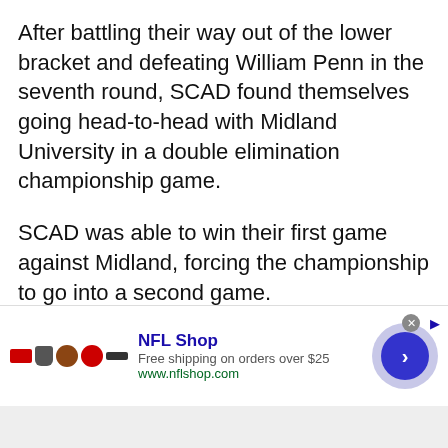After battling their way out of the lower bracket and defeating William Penn in the seventh round, SCAD found themselves going head-to-head with Midland University in a double elimination championship game.
SCAD was able to win their first game against Midland, forcing the championship to go into a second game.
The Bees would beat Midland after three games, winning the fourth and final game after a nine strike streak
[Figure (other): NFL Shop advertisement banner with team icons, NFL Shop title in blue, 'Free shipping on orders over $25' subtitle, www.nflshop.com URL, a close button, and a blue circular navigation arrow button]